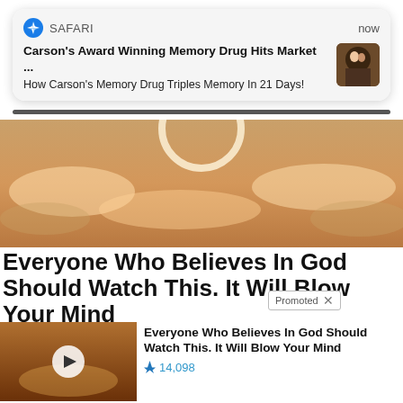[Figure (screenshot): Safari push notification banner showing: 'Carson's Award Winning Memory Drug Hits Market ...' and 'How Carson's Memory Drug Triples Memory In 21 Days!']
[Figure (photo): Sky with golden clouds and a partial circle/ring visible at top center]
Everyone Who Believes In God Should Watch This. It Will Blow Your Mind
Promoted X
[Figure (photo): Video thumbnail showing a glowing road with play button overlay]
Everyone Who Believes In God Should Watch This. It Will Blow Your Mind
14,098
[Figure (photo): Dental implant image showing teeth and gums with an implant]
Apply For Government Dental Implant Grants
52,473